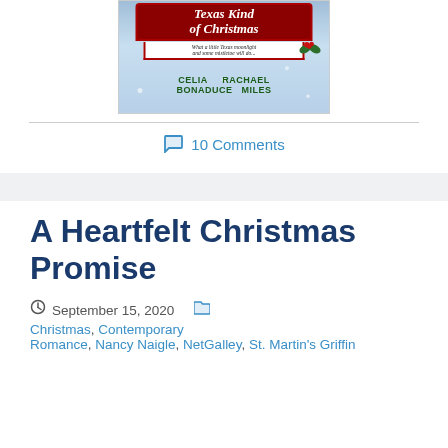[Figure (illustration): Book cover for 'Texas Kind of Christmas' by Celia Bonaduce and Rachael Miles, with snowy background, red banner title, holly decoration]
10 Comments
A Heartfelt Christmas Promise
September 15, 2020   Christmas, Contemporary Romance, Nancy Naigle, NetGalley, St. Martin's Griffin